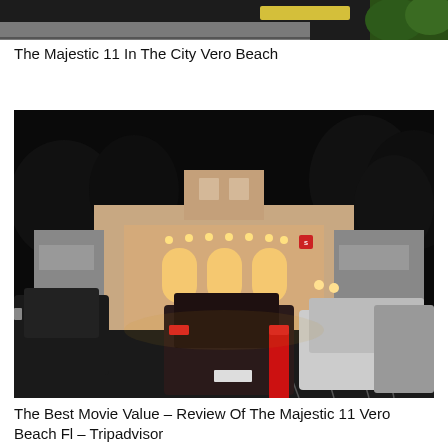[Figure (photo): Partial view of a daytime outdoor scene showing a road with yellow lines and green trees at the top edge, cropped strip at the top of the page]
The Majestic 11 In The City Vero Beach
[Figure (photo): Night-time photo of The Majestic 11 movie theater in Vero Beach, Florida. The theater is illuminated with warm lights, arched windows visible on the facade. Cars are in the parking lot in the foreground.]
The Best Movie Value – Review Of The Majestic 11 Vero Beach Fl – Tripadvisor